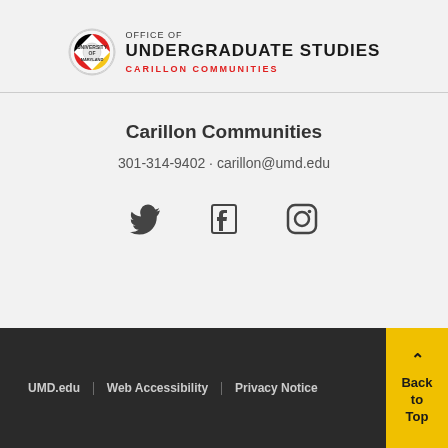[Figure (logo): University of Maryland Office of Undergraduate Studies - Carillon Communities logo with circular UMD seal and text]
Carillon Communities
301-314-9402 · carillon@umd.edu
[Figure (illustration): Social media icons: Twitter bird, Facebook f, Instagram camera outline]
UMD.edu | Web Accessibility | Privacy Notice | Back to Top